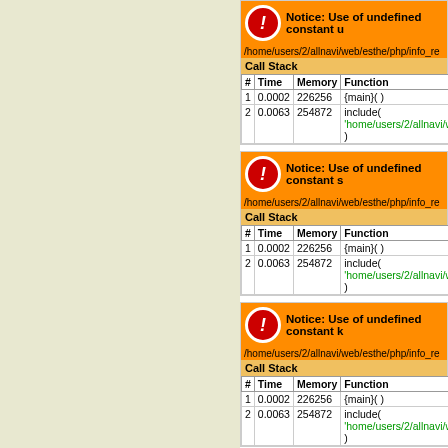[Figure (screenshot): PHP error notice: Use of undefined constant u, with call stack table showing # Time Memory Function columns, rows: 1 0.0002 226256 {main}( ), 2 0.0063 254872 include('/home/users/2/allnavi/web/e...')]
[Figure (screenshot): PHP error notice: Use of undefined constant s, with call stack table showing # Time Memory Function columns, rows: 1 0.0002 226256 {main}( ), 2 0.0063 254872 include('/home/users/2/allnavi/web/e...')]
[Figure (screenshot): PHP error notice: Use of undefined constant k, with call stack table showing # Time Memory Function columns, rows: 1 0.0002 226256 {main}( ), 2 0.0063 254872 include('/home/users/2/allnavi/web/e...')]
[Figure (screenshot): Partial PHP error notice (cut off at bottom)]